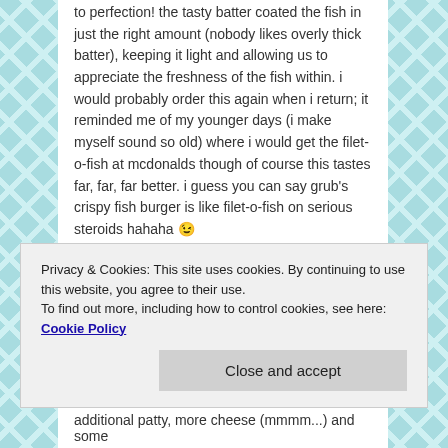to perfection! the tasty batter coated the fish in just the right amount (nobody likes overly thick batter), keeping it light and allowing us to appreciate the freshness of the fish within. i would probably order this again when i return; it reminded me of my younger days (i make myself sound so old) where i would get the filet-o-fish at mcdonalds though of course this tastes far, far, far better. i guess you can say grub's crispy fish burger is like filet-o-fish on serious steroids hahaha 😉
a picture of the yummy fish that the glorious golden batter encased:
[Figure (photo): Broken/missing image placeholder showing filename 20140705_143019]
Privacy & Cookies: This site uses cookies. By continuing to use this website, you agree to their use.
To find out more, including how to control cookies, see here: Cookie Policy
Close and accept
additional patty, more cheese (mmmm...) and some